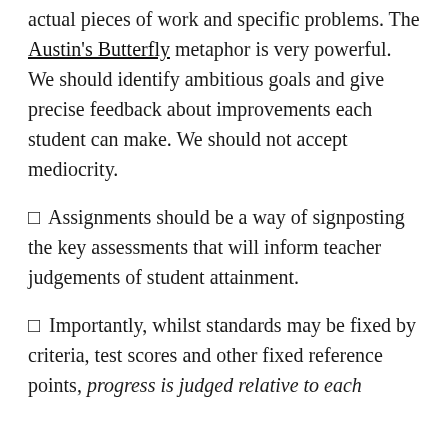actual pieces of work and specific problems. The Austin's Butterfly metaphor is very powerful. We should identify ambitious goals and give precise feedback about improvements each student can make. We should not accept mediocrity.
✦ Assignments should be a way of signposting the key assessments that will inform teacher judgements of student attainment.
✦ Importantly, whilst standards may be fixed by criteria, test scores and other fixed reference points, progress is judged relative to each student's starting point. This acknowledges that...